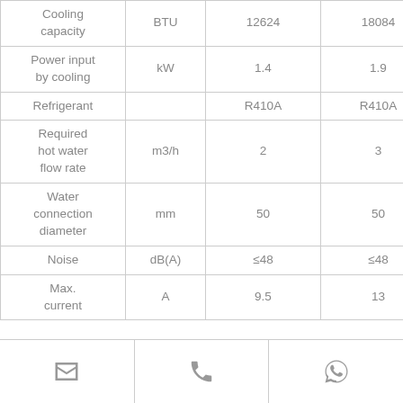| Parameter | Unit | Value 1 | Value 2 |
| --- | --- | --- | --- |
| Cooling capacity | BTU | 12624 | 18084 |
| Power input by cooling | kW | 1.4 | 1.9 |
| Refrigerant |  | R410A | R410A |
| Required hot water flow rate | m3/h | 2 | 3 |
| Water connection diameter | mm | 50 | 50 |
| Noise | dB(A) | ≤48 | ≤48 |
| Max. current | A | 9.5 | 13 |